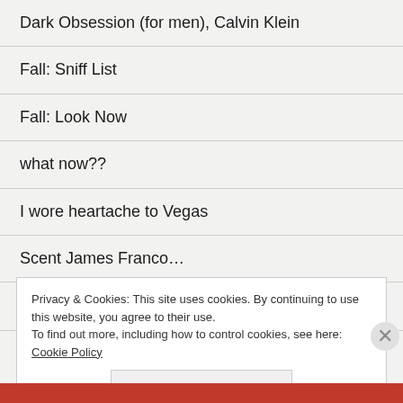Dark Obsession (for men), Calvin Klein
Fall: Sniff List
Fall: Look Now
what now??
I wore heartache to Vegas
Scent James Franco…
Imaginary Authors, with James Franco!
Privacy & Cookies: This site uses cookies. By continuing to use this website, you agree to their use.
To find out more, including how to control cookies, see here: Cookie Policy
Close and accept